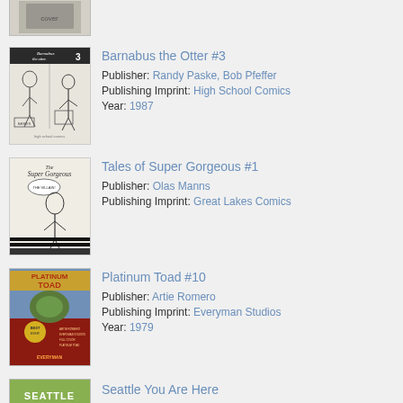[Figure (illustration): Partial comic book cover thumbnail at top of page, cropped]
[Figure (illustration): Comic book cover for Barnabus the Otter #3, black and white sketch style]
Barnabus the Otter #3
Publisher: Randy Paske, Bob Pfeffer
Publishing Imprint: High School Comics
Year: 1987
[Figure (illustration): Comic book cover for Tales of Super Gorgeous #1, black and white illustration]
Tales of Super Gorgeous #1
Publisher: Olas Manns
Publishing Imprint: Great Lakes Comics
[Figure (illustration): Comic book cover for Platinum Toad #10, colorful cover]
Platinum Toad #10
Publisher: Artie Romero
Publishing Imprint: Everyman Studios
Year: 1979
[Figure (illustration): Partial comic book cover for Seattle You Are Here, green cover, cropped]
Seattle You Are Here
Publisher: Bruce Chrislin